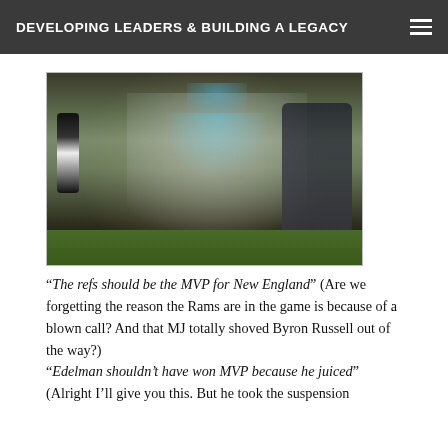DEVELOPING LEADERS & BUILDING A LEGACY
[Figure (photo): Football celebration photo showing players dousing a coach with a Gatorade bucket on the sideline, with a referee and crowd visible in the background.]
“The refs should be the MVP for New England” (Are we forgetting the reason the Rams are in the game is because of a blown call? And that MJ totally shoved Byron Russell out of the way?) “Edelman shouldn’t have won MVP because he juiced” (Alright I’ll give you this. But he took the suspension
(Alright I'll give you this. But he took the suspension